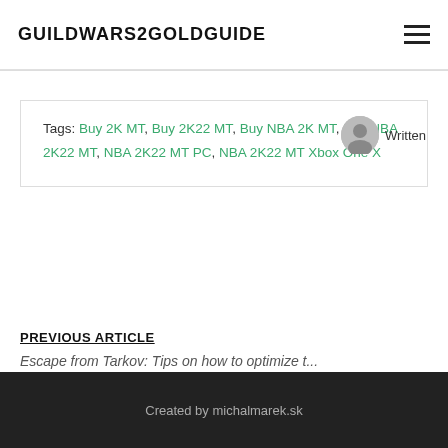GUILDWARS2GOLDGUIDE
Tags: Buy 2K MT, Buy 2K22 MT, Buy NBA 2K MT, Buy NBA 2K22 MT, NBA 2K22 MT PC, NBA 2K22 MT Xbox One X
Written
PREVIOUS ARTICLE
Escape from Tarkov: Tips on how to optimize t...
The way to deal with the reb
Created by michalmarek.sk